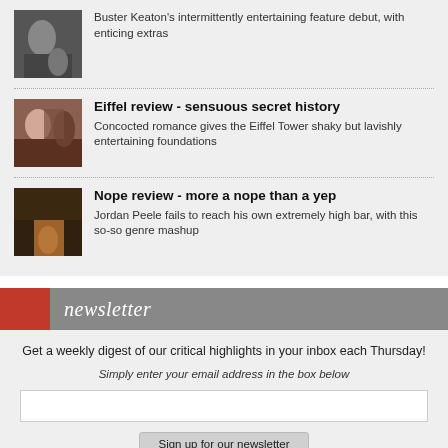Eiffel review - sensuous secret history
Concocted romance gives the Eiffel Tower shaky but lavishly entertaining foundations
Nope review - more a nope than a yep
Jordan Peele fails to reach his own extremely high bar, with this so-so genre mashup
newsletter
Get a weekly digest of our critical highlights in your inbox each Thursday!
Simply enter your email address in the box below